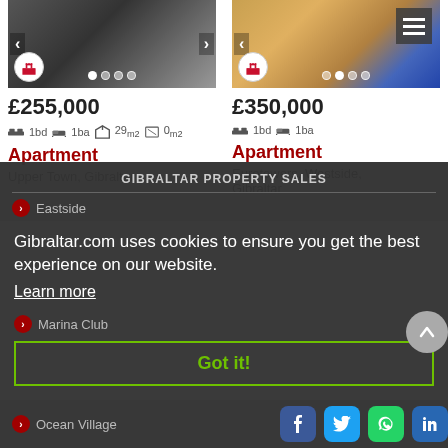[Figure (photo): Photo of apartment building in Upper Town, Gibraltar - dark multi-storey building]
£255,000
1bd  1ba  29m2  0m2
Apartment
Upper Town, Gibraltar
[Figure (photo): Photo of Eurotowers apartment building in Westside, Gibraltar - tall yellow and blue tower block]
£350,000
1bd  1ba
Apartment
Eurotowers, Westside, Gibraltar
GIBRALTAR PROPERTY SALES
Eastside
Gibraltar.com uses cookies to ensure you get the best experience on our website.
Learn more
Marina Club
Got it!
Ocean Village